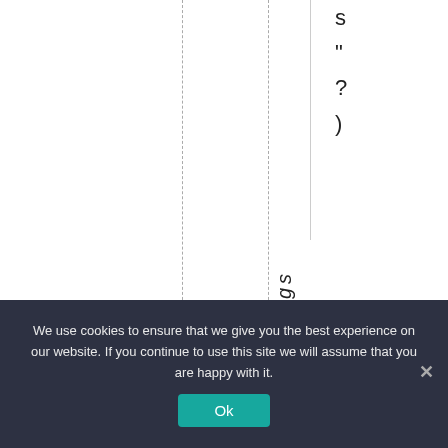s " ? )
The tradings
We use cookies to ensure that we give you the best experience on our website. If you continue to use this site we will assume that you are happy with it.